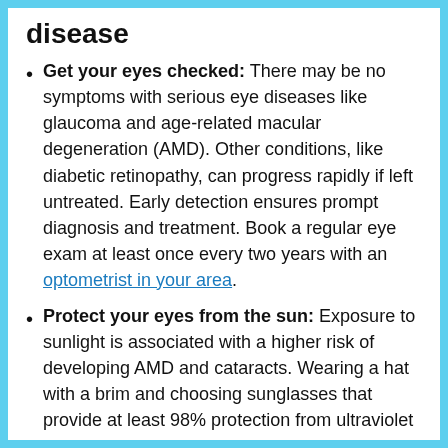disease
Get your eyes checked: There may be no symptoms with serious eye diseases like glaucoma and age-related macular degeneration (AMD). Other conditions, like diabetic retinopathy, can progress rapidly if left untreated. Early detection ensures prompt diagnosis and treatment. Book a regular eye exam at least once every two years with an optometrist in your area.
Protect your eyes from the sun: Exposure to sunlight is associated with a higher risk of developing AMD and cataracts. Wearing a hat with a brim and choosing sunglasses that provide at least 98% protection from ultraviolet (UV) rays can keep your eyes safe. Check the tag for the UV rating before you buy your